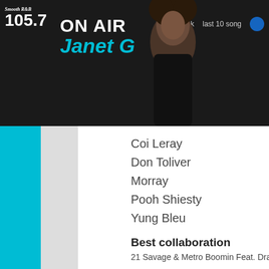Smooth R&B 105.7 ON AIR Janet G | acebook | last 10 songs
Coi Leray
Don Toliver
Morray
Pooh Shiesty
Yung Bleu
Best collaboration
21 Savage & Metro Boomin Feat. Drake, "Mr. Right Now"
Bia feat. Nicki Minaj, "Whole Lotta Money (Remix)"
Cardi B feat. Megan Thee Stallion, "WAP"
DJ Khaled feat. Lil Baby & Lil Durk, "Every Chance I Get"
Drake feat. Lil Durk, "Laugh Now Cry Later"
Pooh Shiesty feat. Lil Durk, "Back in Blood"